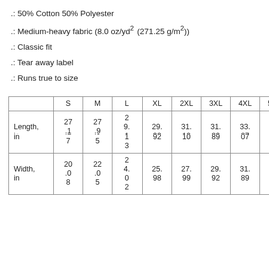.: 50% Cotton 50% Polyester
.: Medium-heavy fabric (8.0 oz/yd² (271.25 g/m²))
.: Classic fit
.: Tear away label
.: Runs true to size
|  | S | M | L | XL | 2XL | 3XL | 4XL | 5XL |
| --- | --- | --- | --- | --- | --- | --- | --- | --- |
| Length, in | 27.17 | 27.95 | 29.13 | 29.92 | 31.10 | 31.89 | 33.07 | 33.86 |
| Width, in | 20.08 | 22.05 | 24.02 | 25.98 | 27.99 | 29.92 | 31.89 | 33.86 |